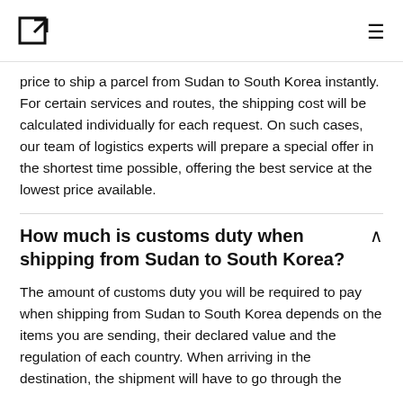[logo icon] [hamburger menu]
price to ship a parcel from Sudan to South Korea instantly. For certain services and routes, the shipping cost will be calculated individually for each request. On such cases, our team of logistics experts will prepare a special offer in the shortest time possible, offering the best service at the lowest price available.
How much is customs duty when shipping from Sudan to South Korea?
The amount of customs duty you will be required to pay when shipping from Sudan to South Korea depends on the items you are sending, their declared value and the regulation of each country. When arriving in the destination, the shipment will have to go through the